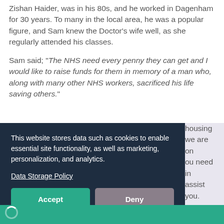Zishan Haider, was in his 80s, and he worked in Dagenham for 30 years. To many in the local area, he was a popular figure, and Sam knew the Doctor's wife well, as she regularly attended his classes.
Sam said; "The NHS need every penny they can get and I would like to raise funds for them in memory of a man who, along with many other NHS workers, sacrificed his life saving others."
[partial text obscured] housing we are on ou need in assist you.
[Figure (screenshot): Cookie consent banner overlay with dark navy background. Text reads: 'This website stores data such as cookies to enable essential site functionality, as well as marketing, personalization, and analytics.' followed by a 'Data Storage Policy' link and two buttons: 'Accept' (green) and 'Deny' (muted purple).]